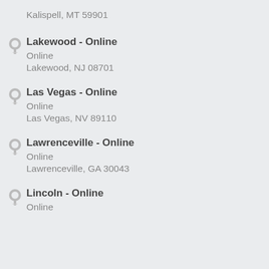Kalispell, MT 59901
Lakewood - Online
Online
Lakewood, NJ 08701
Las Vegas - Online
Online
Las Vegas, NV 89110
Lawrenceville - Online
Online
Lawrenceville, GA 30043
Lincoln - Online
Online